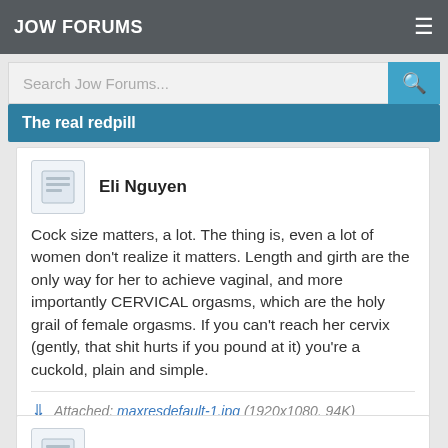JOW FORUMS
Search Jow Forums...
The real redpill
Eli Nguyen
Cock size matters, a lot. The thing is, even a lot of women don't realize it matters. Length and girth are the only way for her to achieve vaginal, and more importantly CERVICAL orgasms, which are the holy grail of female orgasms. If you can't reach her cervix (gently, that shit hurts if you pound at it) you're a cuckold, plain and simple.
Attached: maxresdefault-1.jpg (1920x1080, 94K)
Kayden Nelson